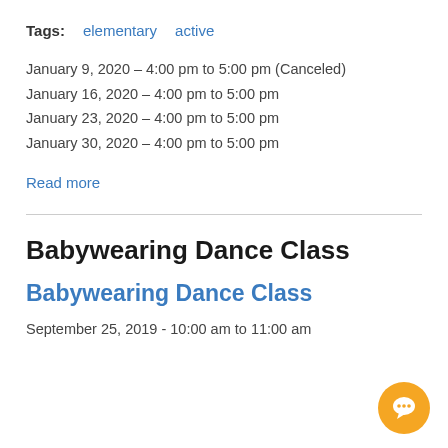Tags: elementary active
January 9, 2020 – 4:00 pm to 5:00 pm (Canceled)
January 16, 2020 – 4:00 pm to 5:00 pm
January 23, 2020 – 4:00 pm to 5:00 pm
January 30, 2020 – 4:00 pm to 5:00 pm
Read more
Babywearing Dance Class
Babywearing Dance Class
September 25, 2019 - 10:00 am to 11:00 am